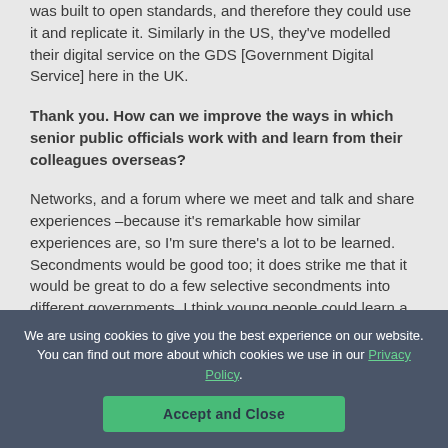was built to open standards, and therefore they could use it and replicate it. Similarly in the US, they've modelled their digital service on the GDS [Government Digital Service] here in the UK.
Thank you. How can we improve the ways in which senior public officials work with and learn from their colleagues overseas?
Networks, and a forum where we meet and talk and share experiences –because it's remarkable how similar experiences are, so I'm sure there's a lot to be learned. Secondments would be good too; it does strike me that it would be great to do a few selective secondments into different governments. I think young people could learn a lot from doing that, and would then bring back and share more ideas.
We are using cookies to give you the best experience on our website. You can find out more about which cookies we use in our Privacy Policy.